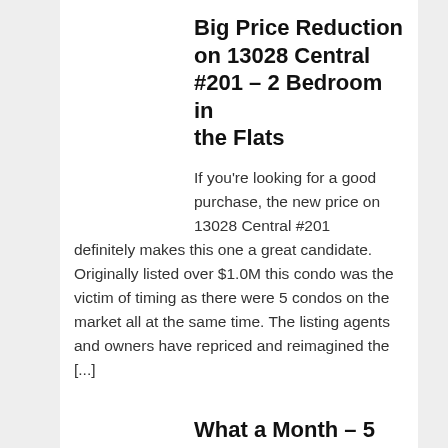Big Price Reduction on 13028 Central #201 – 2 Bedroom in the Flats
If you're looking for a good purchase, the new price on 13028 Central #201 definitely makes this one a great candidate. Originally listed over $1.0M this condo was the victim of timing as there were 5 condos on the market all at the same time.   The listing agents and owners have repriced and reimagined the [...]
What a Month – 5 Homes Sold in Three Sixty in June
What a month it was with